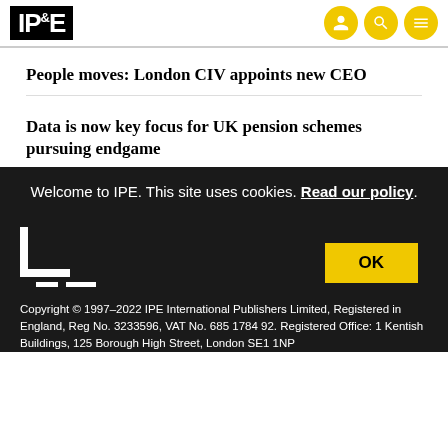IPE
People moves: London CIV appoints new CEO
Data is now key focus for UK pension schemes pursuing endgame
Welcome to IPE. This site uses cookies. Read our policy.
OK
Copyright © 1997–2022 IPE International Publishers Limited, Registered in England, Reg No. 3233596, VAT No. 685 1784 92. Registered Office: 1 Kentish Buildings, 125 Borough High Street, London SE1 1NP